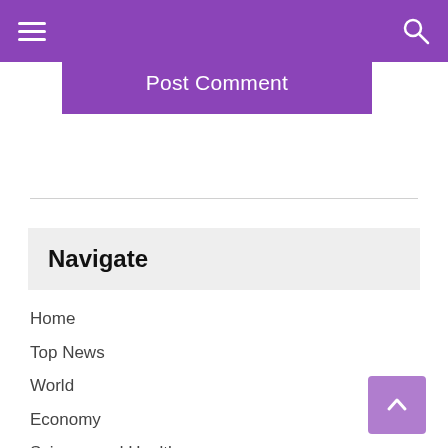Navigation header with hamburger menu and search icon
Post Comment
Navigate
Home
Top News
World
Economy
Science and Health
Technology
sport
entertainment
Contact Form